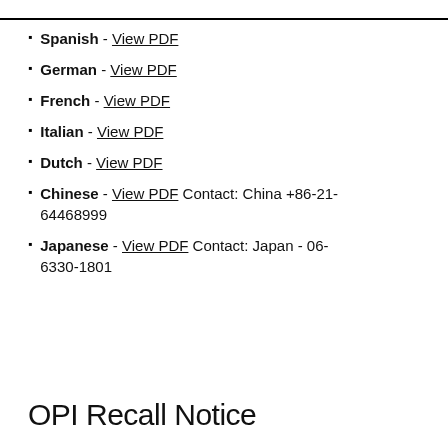Spanish - View PDF
German - View PDF
French - View PDF
Italian - View PDF
Dutch - View PDF
Chinese - View PDF Contact: China +86-21-64468999
Japanese - View PDF Contact: Japan - 06-6330-1801
OPI Recall Notice